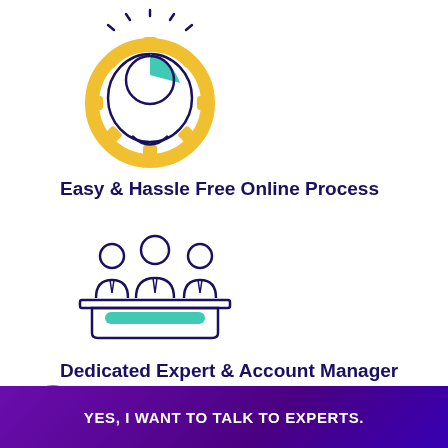[Figure (illustration): Icon of a human head silhouette with a gear and a teal pie-chart brain segment, with yellow gear teeth and radiating lines, outlined in dark navy]
Easy & Hassle Free Online Process
[Figure (illustration): Icon of three suited figures (two with ties) seated behind a reception desk with a teal horizontal bar, outlined in dark navy]
Dedicated Expert & Account Manager
[Figure (illustration): WhatsApp green circle button with chat icon, next to a mint-green speech bubble reading 'Questions? Let's Chat', and partially visible chat interface below]
YES, I WANT TO TALK TO EXPERTS.